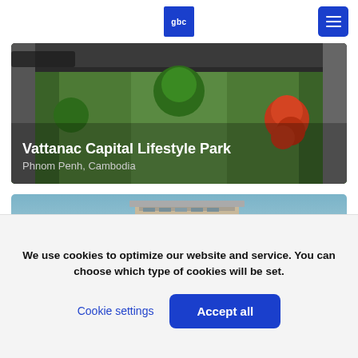gbc
[Figure (photo): Aerial view of Vattanac Capital Lifestyle Park showing green lawn area with trees and surrounding roads]
Vattanac Capital Lifestyle Park
Phnom Penh, Cambodia
[Figure (photo): Modern multi-story building photographed against a blue sky]
We use cookies to optimize our website and service. You can choose which type of cookies will be set.
Cookie settings
Accept all